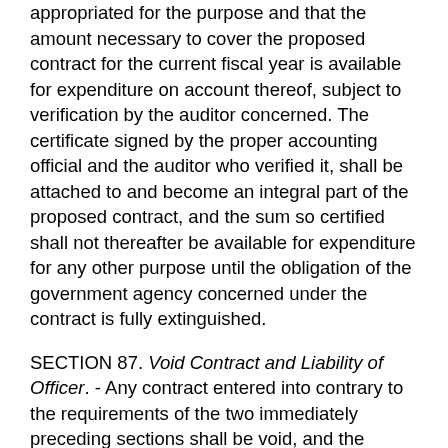appropriated for the purpose and that the amount necessary to cover the proposed contract for the current fiscal year is available for expenditure on account thereof, subject to verification by the auditor concerned. The certificate signed by the proper accounting official and the auditor who verified it, shall be attached to and become an integral part of the proposed contract, and the sum so certified shall not thereafter be available for expenditure for any other purpose until the obligation of the government agency concerned under the contract is fully extinguished.
SECTION 87. Void Contract and Liability of Officer. - Any contract entered into contrary to the requirements of the two immediately preceding sections shall be void, and the officer or officers entering into the contract